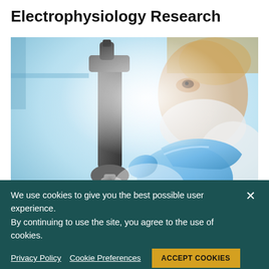Electrophysiology Research
[Figure (photo): A scientist wearing blue gloves and a face mask uses a microscope in a laboratory setting, viewed from the side at close range.]
Cardiac Electrophysiology, or arrhythmia is the study of
We use cookies to give you the best possible user experience. By continuing to use the site, you agree to the use of cookies.

Privacy Policy   Cookie Preferences   ACCEPT COOKIES